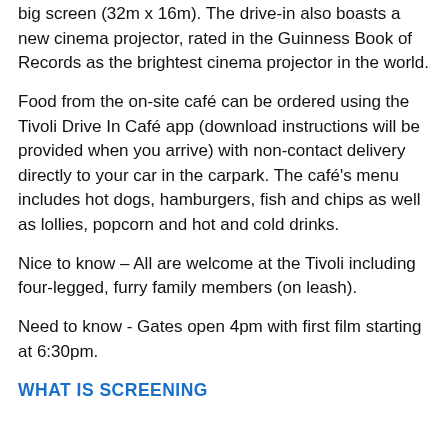big screen (32m x 16m). The drive-in also boasts a new cinema projector, rated in the Guinness Book of Records as the brightest cinema projector in the world.
Food from the on-site café can be ordered using the Tivoli Drive In Café app (download instructions will be provided when you arrive) with non-contact delivery directly to your car in the carpark. The café's menu includes hot dogs, hamburgers, fish and chips as well as lollies, popcorn and hot and cold drinks.
Nice to know – All are welcome at the Tivoli including four-legged, furry family members (on leash).
Need to know - Gates open 4pm with first film starting at 6:30pm.
WHAT IS SCREENING